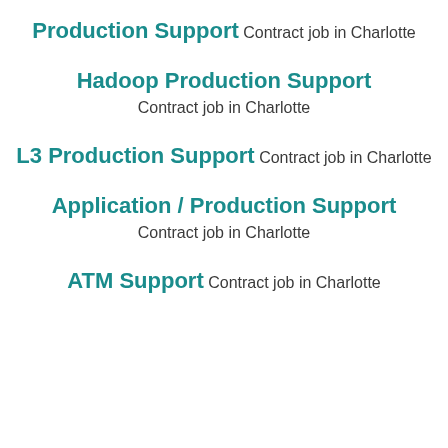Production Support
Contract job in Charlotte
Hadoop Production Support
Contract job in Charlotte
L3 Production Support
Contract job in Charlotte
Application / Production Support
Contract job in Charlotte
ATM Support
Contract job in Charlotte